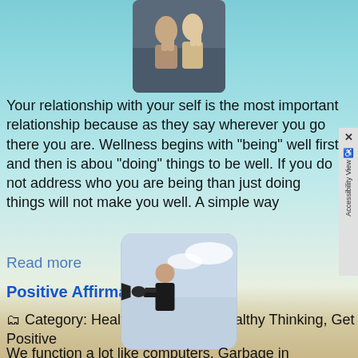[Figure (photo): Two women with hands raised in prayer pose, close-up portrait]
Your relationship with your self is the most important relationship because as they say wherever you go there you are. Wellness begins with "being" well first and then is abou "doing" things to be well. If you do not address who you are being than just doing things will not make you well. A simple way
Read more
Positive Affirmations
Category: Health & Wellness, Healthy Thinking, Get Positive
[Figure (photo): Man in black jacket shouting through a large megaphone/bullhorn, outdoors with cloudy sky]
We function a lot like computers. Garbage in produces